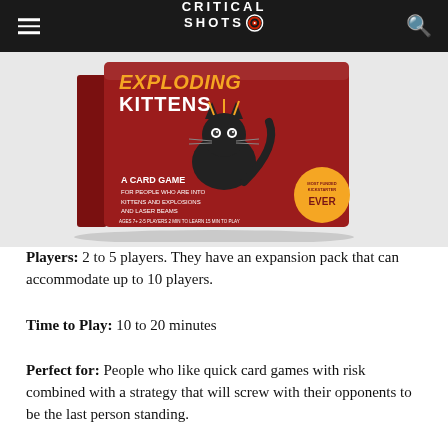CRITICAL SHOTS
[Figure (photo): Product photo of Exploding Kittens card game box, showing a red box with a cartoon black cat, text 'Exploding Kittens: A Card Game for People Who Are Into Kittens and Explosions and Laser Beams'. Ages 7+, 2-5 players. Most funded Kickstarter ever badge.]
Players: 2 to 5 players. They have an expansion pack that can accommodate up to 10 players.
Time to Play: 10 to 20 minutes
Perfect for: People who like quick card games with risk combined with a strategy that will screw with their opponents to be the last person standing.